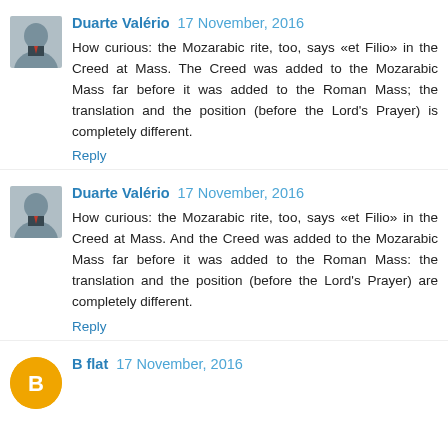Duarte Valério 17 November, 2016
How curious: the Mozarabic rite, too, says «et Filio» in the Creed at Mass. The Creed was added to the Mozarabic Mass far before it was added to the Roman Mass; the translation and the position (before the Lord's Prayer) is completely different.
Reply
Duarte Valério 17 November, 2016
How curious: the Mozarabic rite, too, says «et Filio» in the Creed at Mass. And the Creed was added to the Mozarabic Mass far before it was added to the Roman Mass: the translation and the position (before the Lord's Prayer) are completely different.
Reply
B flat 17 November, 2016